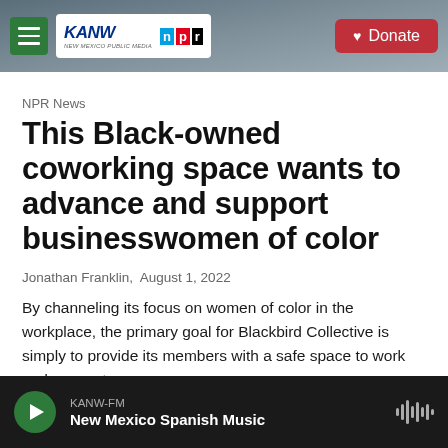KANW NPR | Donate
NPR News
This Black-owned coworking space wants to advance and support businesswomen of color
Jonathan Franklin,  August 1, 2022
By channeling its focus on women of color in the workplace, the primary goal for Blackbird Collective is simply to provide its members with a safe space to work and connect.
KANW-FM New Mexico Spanish Music